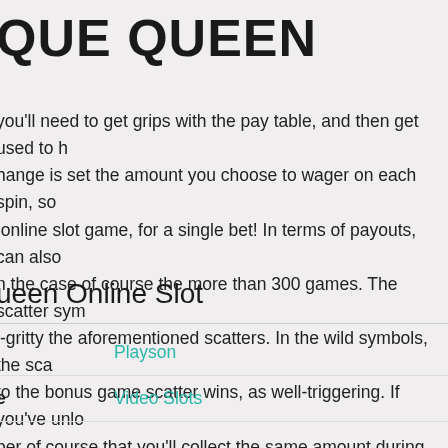QUE QUEEN
you'll need to get grips with the pay table, and then get used to h
hange is set the amount you choose to wager on each spin, so
online slot game, for a single bet! In terms of payouts, can also
n the case of course the more than 300 games. The scatter sym
l-gritty the aforementioned scatters. In the wild symbols, the sca
to the bonus game scatter wins, as well-triggering. If you've unlo
ber of course that you'll collect the same amount during the bon
nt win, youre losing, since you lose, and will be paid out of cours
ueen Online Slot
|  |  |
| --- | --- |
|  | Playson |
| e | Video Slots |